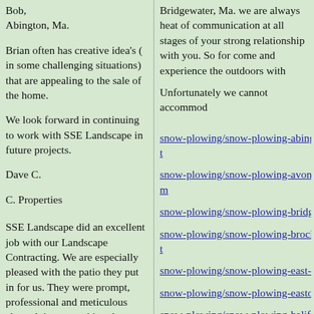Bob,
Abington, Ma.
Brian often has creative idea's ( in some challenging situations) that are appealing to the sale of the home.
We look forward in continuing to work with SSE Landscape in future projects.
Dave C.
C. Properties
SSE Landscape did an excellent job with our Landscape Contracting. We are especially pleased with the patio they put in for us. They were prompt, professional and meticulous about doing everything they
Bridgewater, Ma. we are always he... of communication at all stages of y... strong relationship with you. So for... come and experience the outdoors w...
Unfortunately we cannot accommo...
snow-plowing/snow-plowing-abing...
snow-plowing/snow-plowing-avon-...
snow-plowing/snow-plowing-bridge...
snow-plowing/snow-plowing-brock...
snow-plowing/snow-plowing-east-b...
snow-plowing/snow-plowing-easton...
snow-plowing/snow-plowing-halifa...
snow-plowing/snow-plowing-hanov...
snow-plowing/snow-plowing-hanso...